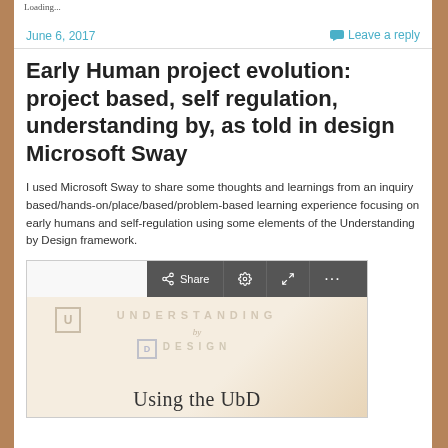Loading...
June 6, 2017
Leave a reply
Early Human project evolution: project based, self regulation, understanding by, as told in design Microsoft Sway
I used Microsoft Sway to share some thoughts and learnings from an inquiry based/hands-on/place/based/problem-based learning experience focusing on early humans and self-regulation using some elements of the Understanding by Design framework.
[Figure (screenshot): Embedded Microsoft Sway presentation showing a toolbar with Share, settings, expand, and more buttons, and a preview of a book cover for 'Understanding by Design' with text 'Using the UbD']